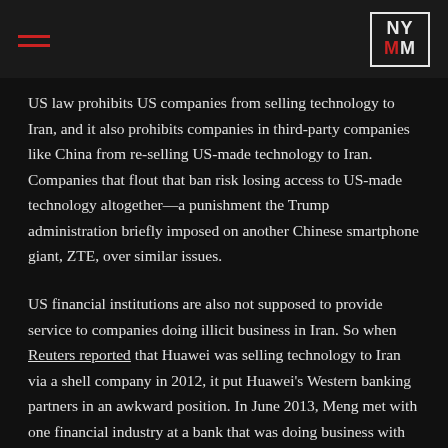NYMM
US law prohibits US companies from selling technology to Iran, and it also prohibits companies in third-party companies like China from re-selling US-made technology to Iran. Companies that flout that ban risk losing access to US-made technology altogether—a punishment the Trump administration briefly imposed on another Chinese smartphone giant, ZTE, over similar issues.
US financial institutions are also not supposed to provide service to companies doing illicit business in Iran. So when Reuters reported that Huawei was selling technology to Iran via a shell company in 2012, it put Huawei's Western banking partners in an awkward position. In June 2013, Meng met with one financial industry at a bank that was doing business with Huawei.